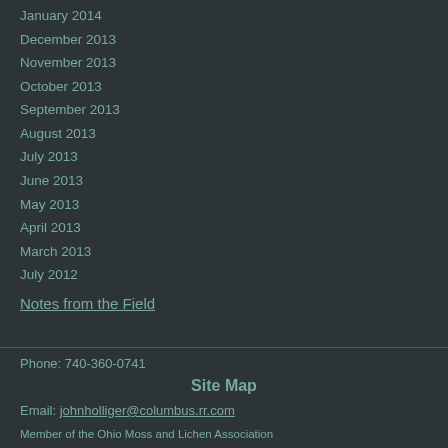January 2014
December 2013
November 2013
October 2013
September 2013
August 2013
July 2013
June 2013
May 2013
April 2013
March 2013
July 2012
Notes from the Field
Phone: 740-360-0741
Site Map
Email: johnholliger@columbus.rr.com
Member of the Ohio Moss and Lichen Association